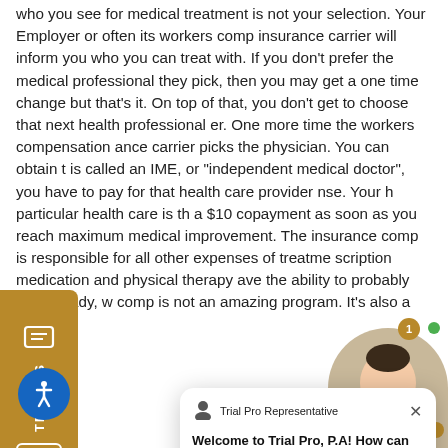who you see for medical treatment is not your selection. Your Employer or often its workers comp insurance carrier will inform you who you can treat with. If you don't prefer the medical professional they pick, then you may get a one time change but that's it. On top of that, you don't get to choose that next health professional er. One more time the workers compensation ance carrier picks the physician. You can obtain t is called an IME, or "independent medical doctor", you have to pay for that health care provider nse. Your h particular health care is th a $10 copayment as soon as you reach maximum medical improvement. The insurance comp is responsible for all other expenses of treatme scription medication and physical therapy ave the ability to probably see already, w comp is not an amazing program. It's also a
[Figure (other): Gold 'TEXT US' vertical sidebar widget on the left side of the page]
[Figure (other): Chat popup from Trial Pro Representative: 'Welcome to Trial Pro, P.A! How can we help you?' with close button]
[Figure (other): Blue accessibility icon button (wheelchair symbol) in bottom left corner]
[Figure (other): Online agent avatar photo in bottom right corner with gold 'Online Agent' badge, notification bubble showing '1', and green online dot]